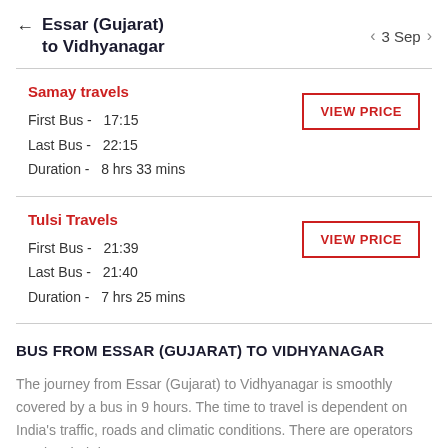← Essar (Gujarat) to Vidhyanagar  < 3 Sep >
Samay travels
First Bus -  17:15
Last Bus -  22:15
Duration -  8 hrs 33 mins
VIEW PRICE
Tulsi Travels
First Bus -  21:39
Last Bus -  21:40
Duration -  7 hrs 25 mins
VIEW PRICE
BUS FROM ESSAR (GUJARAT) TO VIDHYANAGAR
The journey from Essar (Gujarat) to Vidhyanagar is smoothly covered by a bus in 9 hours. The time to travel is dependent on India's traffic, roads and climatic conditions. There are operators running their buses